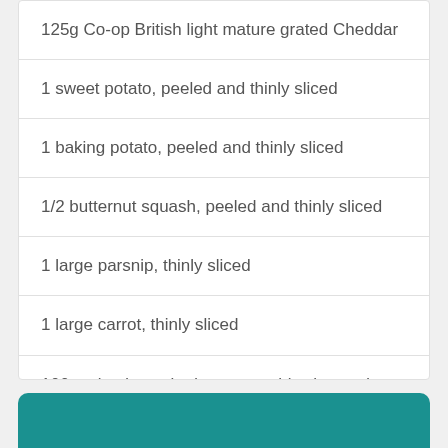125g Co-op British light mature grated Cheddar
1 sweet potato, peeled and thinly sliced
1 baking potato, peeled and thinly sliced
1/2 butternut squash, peeled and thinly sliced
1 large parsnip, thinly sliced
1 large carrot, thinly sliced
100g mixed unsalted nuts, roughly chopped